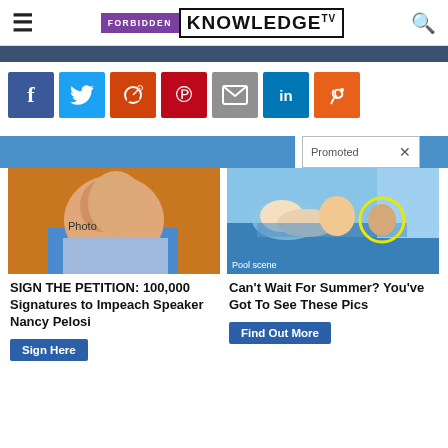FORBIDDEN KNOWLEDGE TV
[Figure (screenshot): Social media sharing buttons: Facebook, Twitter, Reddit, Pinterest, Email, LinkedIn, StumbleUpon]
[Figure (screenshot): Promoted content bar with blue strip and 'Promoted X' label]
[Figure (photo): Photo of Nancy Pelosi for petition ad]
SIGN THE PETITION: 100,000 Signatures to Impeach Speaker Nancy Pelosi
[Figure (photo): Children in pool, summer photo with yellow circle highlight]
Can't Wait For Summer? You've Got To See These Pics